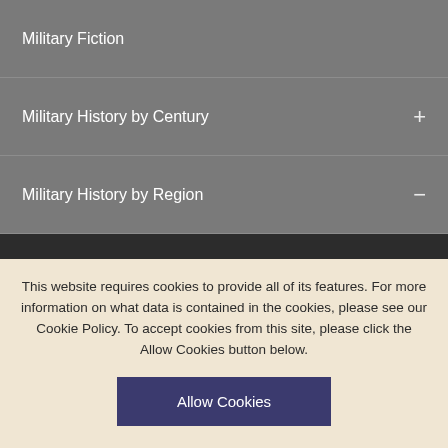Military Fiction
Military History by Century +
Military History by Region −
Africa +
Asia +
Australia
This website requires cookies to provide all of its features. For more information on what data is contained in the cookies, please see our Cookie Policy. To accept cookies from this site, please click the Allow Cookies button below.
Allow Cookies